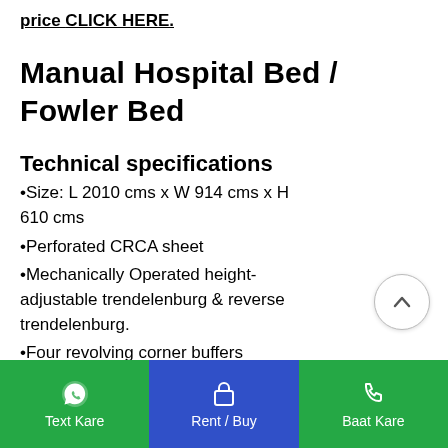price CLICK HERE.
Manual Hospital Bed / Fowler Bed
Technical specifications
•Size: L 2010 cms x W 914 cms x H 610 cms
•Perforated CRCA sheet
•Mechanically Operated height-adjustable trendelenburg & reverse trendelenburg.
•Four revolving corner buffers
•ABS Head & Foot bows
Text Kare  |  Rent / Buy  |  Baat Kare